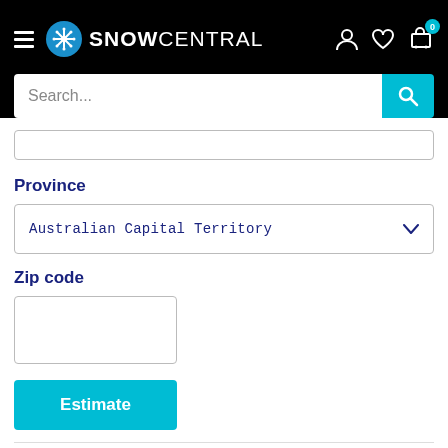SNOWCENTRAL
Search...
(partial input field)
Province
Australian Capital Territory
Zip code
(zip code input field)
Estimate